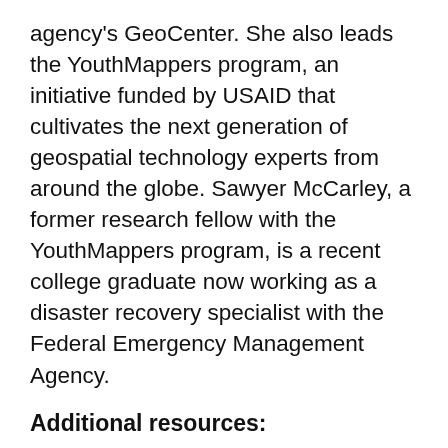agency's GeoCenter. She also leads the YouthMappers program, an initiative funded by USAID that cultivates the next generation of geospatial technology experts from around the globe. Sawyer McCarley, a former research fellow with the YouthMappers program, is a recent college graduate now working as a disaster recovery specialist with the Federal Emergency Management Agency.
Additional resources:
Carrie Stokes, USAID Bio
GeoCenter